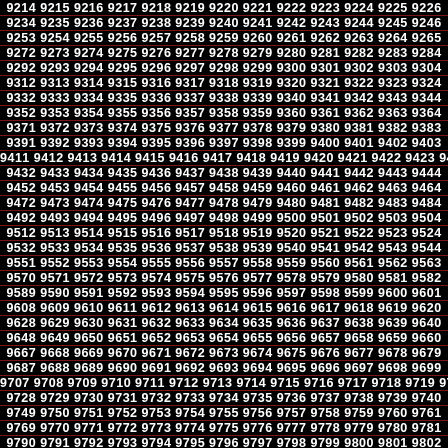Sequential number grid from 9214 to 9841+, displayed as rows of consecutive integers on black background with red dividing lines between rows.